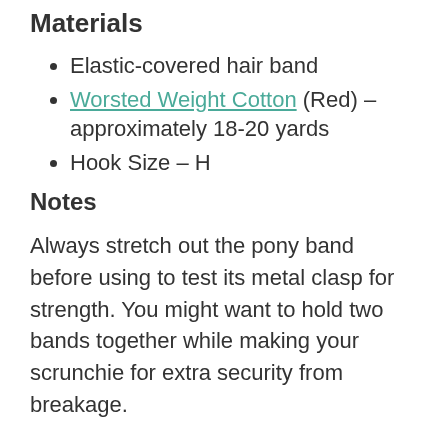Materials
Elastic-covered hair band
Worsted Weight Cotton (Red) – approximately 18-20 yards
Hook Size – H
Notes
Always stretch out the pony band before using to test its metal clasp for strength. You might want to hold two bands together while making your scrunchie for extra security from breakage.